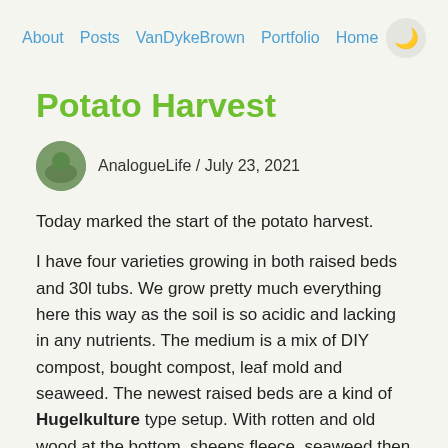About  Posts  VanDykeBrown  Portfolio  Home
Potato Harvest
AnalogueLife / July 23, 2021
Today marked the start of the potato harvest.
I have four varieties growing in both raised beds and 30l tubs. We grow pretty much everything here this way as the soil is so acidic and lacking in any nutrients. The medium is a mix of DIY compost, bought compost, leaf mold and seaweed. The newest raised beds are a kind of Hugelkulture type setup. With rotten and old wood at the bottom, sheeps fleece, seaweed then soil layers.